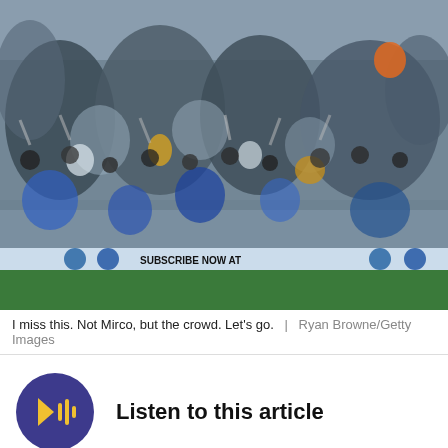[Figure (photo): A football player in white jersey number 34 celebrating in front of a large jubilant crowd of supporters at a stadium, with a goalpost visible on the right. Fans are cheering with arms raised. An advertising hoarding reads 'SUBSCRIBE NOW AT' along the bottom.]
I miss this. Not Mirco, but the crowd. Let's go.  |  Ryan Browne/Getty Images
[Figure (other): Audio player button: dark purple circular play button with audio waveform icon and text 'Listen to this article']
The fixture for the 2016/17 Championship League...